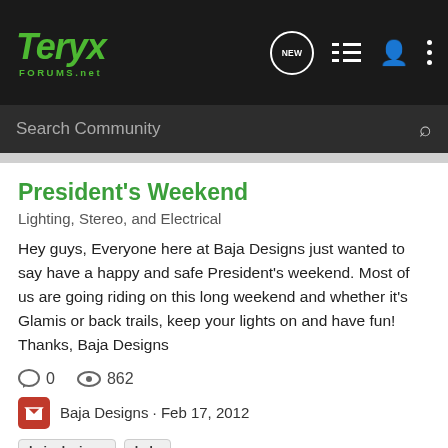Teryx FORUMS.net
Search Community
President's Weekend
Lighting, Stereo, and Electrical
Hey guys, Everyone here at Baja Designs just wanted to say have a happy and safe President's weekend. Most of us are going riding on this long weekend and whether it's Glamis or back trails, keep your lights on and have fun! Thanks, Baja Designs
0 comments · 862 views
Baja Designs · Feb 17, 2012
baja designs   leds
Discounted 20" Stealth Light Bar